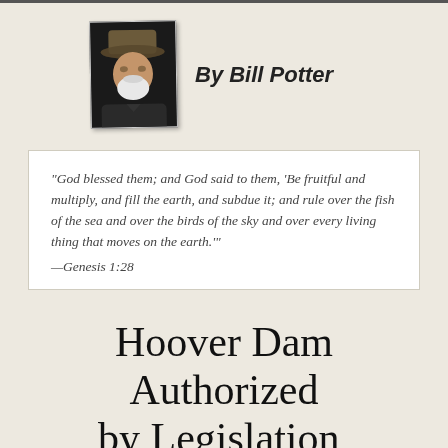[Figure (photo): Portrait photo of Bill Potter, an older man wearing a hat with a white beard, dark background]
By Bill Potter
“God blessed them; and God said to them, ‘Be fruitful and multiply, and fill the earth, and subdue it; and rule over the fish of the sea and over the birds of the sky and over every living thing that moves on the earth.’” —Genesis 1:28
Hoover Dam Authorized by Legislation,